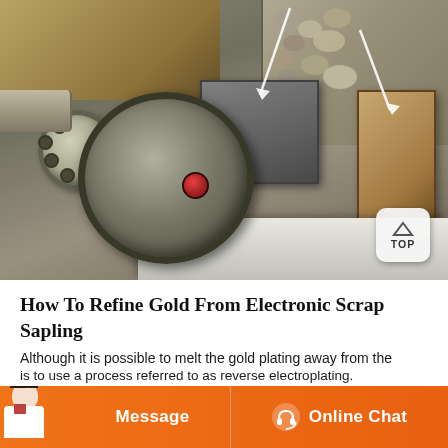[Figure (photo): Industrial gold refining machine with large gray flywheel, motor assembly, wooden crates, metal box, and rocky material in the background. White arrow annotation lines point to specific machine parts.]
How To Refine Gold From Electronic Scrap Sapling
Although it is possible to melt the gold plating away from the
[Figure (infographic): Orange chat bar at bottom with customer service agent photo on left, 'Message' button in center-left, and 'Online Chat' button with headset icon on right.]
is to use a process referred to as reverse electroplating.